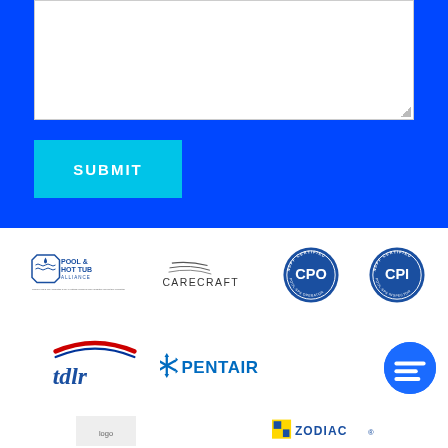[Figure (other): Text area input box (white, empty) on blue background]
[Figure (other): SUBMIT button in cyan/light blue color on blue background]
[Figure (logo): Pool & Hot Tub Alliance logo]
[Figure (logo): Carecraft logo]
[Figure (logo): NSPF Certified CPO Pool Spa Operator seal]
[Figure (logo): NSPF Certified CPI Pool Spa Inspector seal]
[Figure (logo): TDLR logo]
[Figure (logo): Pentair logo]
[Figure (other): Chat bubble button (blue circle with chat icon)]
[Figure (logo): Zodiac logo (partial, bottom)]